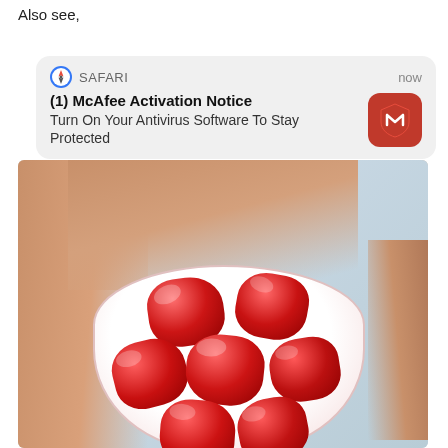Also see,
[Figure (screenshot): iOS Safari browser notification popup with McAfee Activation Notice: '(1) McAfee Activation Notice — Turn On Your Antivirus Software To Stay Protected', showing Safari icon, 'now' timestamp, and red McAfee shield logo icon on the right.]
[Figure (photo): A hand holding a small white paper cup containing several red sugary gummy candy pieces, photographed from above on a light blue-grey background.]